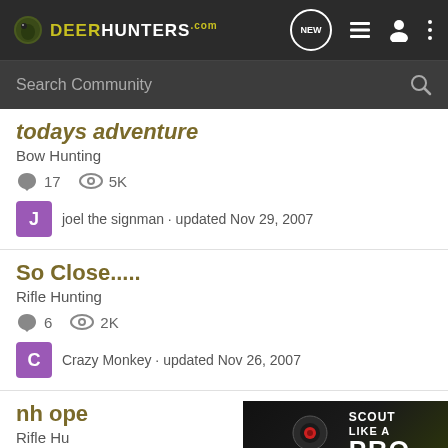DeerHunters.com
Search Community
todays adventure
Bow Hunting
17 comments · 5K views
joel the signman · updated Nov 29, 2007
So Close.....
Rifle Hunting
6 comments · 2K views
Crazy Monkey · updated Nov 26, 2007
nh ope
Rifle Hu
[Figure (advertisement): Stealth Cam advertisement banner: Scout Like A PRO]